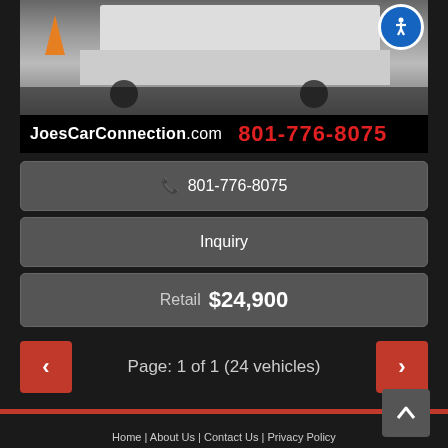[Figure (photo): Truck/commercial vehicle photo with orange traffic cone visible, shot from low angle showing underside and wheels on pavement]
JoesCarConnection.com  801-776-8075
📞 801-776-8075
Inquiry
Retail  $24,900
Page: 1 of 1 (24 vehicles)
Home | About Us | Contact Us | Privacy Policy
Dealer Car Search Login | Copyright 2022 | Sitemap
Joe's Car Connection 5464 South 1900 West, Roy, UT 84067 801-776-8075